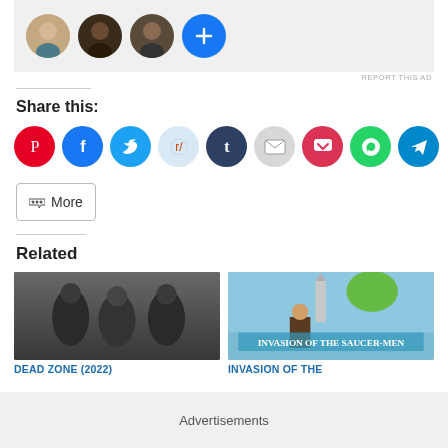[Figure (screenshot): Row of circular avatar photos with a blue plus button, inside a light gray ad banner]
REPORT THIS AD
Share this:
[Figure (screenshot): Row of social sharing icon buttons: Pinterest (red), Facebook (blue), Twitter (blue), Reddit (light blue), Tumblr (dark blue), Email (gray), Pocket (red), WhatsApp (green), Telegram (blue)]
More
Related
[Figure (photo): Three soldiers in black tactical armor standing together - Dead Zone (2022) movie thumbnail]
DEAD ZONE (2022)
[Figure (photo): Invasion of the Saucer-Men vintage movie poster with alien creatures attacking people]
INVASION OF THE
Advertisements